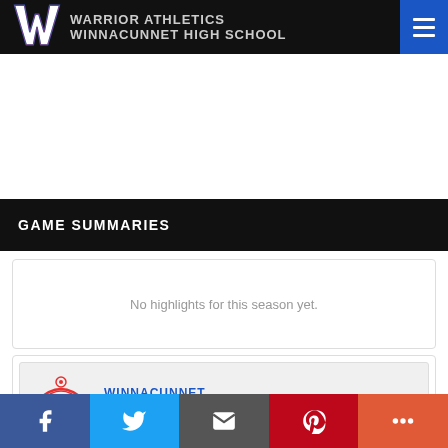Warrior Athletics Winnacunnet High School
GAME SUMMARIES
No highlights for this season yet.
[Figure (logo): Winnacunnet Warriors Softball official logo with OFFICIAL badge]
Social share bar: Facebook, Twitter, Email, Pinterest, More